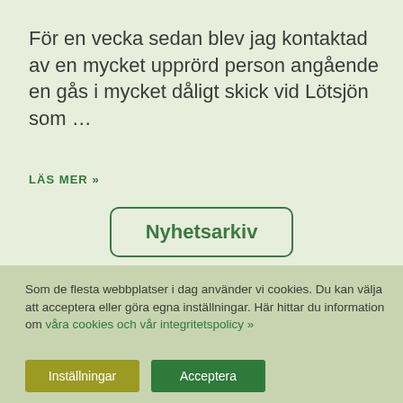För en vecka sedan blev jag kontaktad av en mycket upprörd person angående en gås i mycket dåligt skick vid Lötsjön som …
LÄS MER »
Nyhetsarkiv
Som de flesta webbplatser i dag använder vi cookies. Du kan välja att acceptera eller göra egna inställningar. Här hittar du information om våra cookies och vår integritetspolicy »
Inställningar
Acceptera